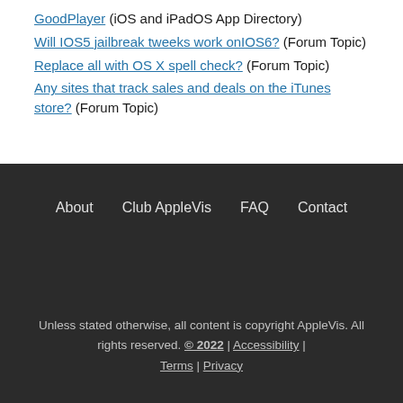GoodPlayer (iOS and iPadOS App Directory)
Will IOS5 jailbreak tweeks work onIOS6? (Forum Topic)
Replace all with OS X spell check? (Forum Topic)
Any sites that track sales and deals on the iTunes store? (Forum Topic)
About   Club AppleVis   FAQ   Contact

Unless stated otherwise, all content is copyright AppleVis. All rights reserved. © 2022 | Accessibility | Terms | Privacy